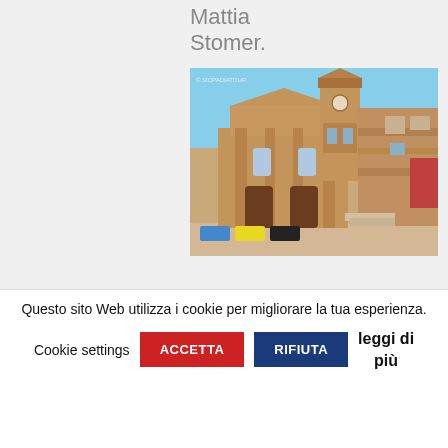Mattia Stomer.
[Figure (photo): Photograph of a Baroque church facade with a bell tower, surrounded by historic stone buildings under a clear blue sky. Cars are parked in the foreground plaza.]
Questo sito Web utilizza i cookie per migliorare la tua esperienza.
Cookie settings  ACCETTA  RIFIUTA  leggi di più